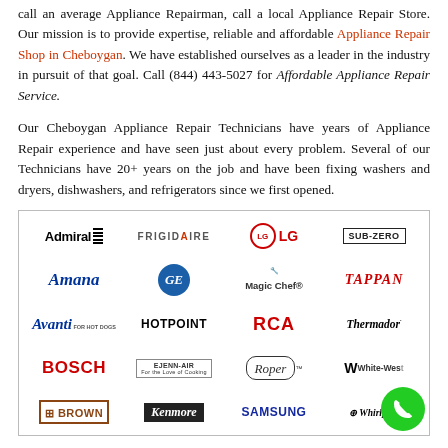call an average Appliance Repairman, call a local Appliance Repair Store. Our mission is to provide expertise, reliable and affordable Appliance Repair Shop in Cheboygan. We have established ourselves as a leader in the industry in pursuit of that goal. Call (844) 443-5027 for Affordable Appliance Repair Service.
Our Cheboygan Appliance Repair Technicians have years of Appliance Repair experience and have seen just about every problem. Several of our Technicians have 20+ years on the job and have been fixing washers and dryers, dishwashers, and refrigerators since we first opened.
[Figure (illustration): Grid of appliance brand logos including Admiral, Frigidaire, LG, Sub-Zero, Amana, GE, Magic Chef, Tappan, Avanti, Hotpoint, RCA, Thermador, Bosch, Jenn-Air, Roper, White-Westinghouse, Brown, Kenmore, Samsung, Whirlpool, and a green phone call button.]